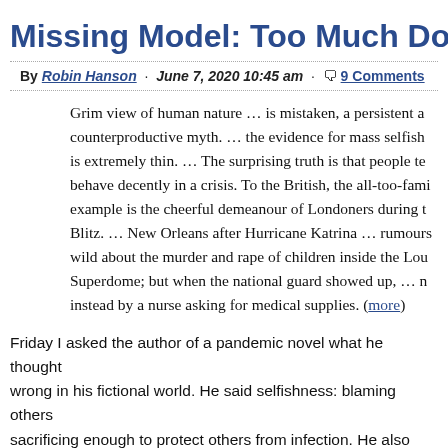Missing Model: Too Much Do-Goo...
By Robin Hanson · June 7, 2020 10:45 am · 9 Comments
Grim view of human nature … is mistaken, a persistent and counterproductive myth. … the evidence for mass selfishness is extremely thin. … The surprising truth is that people tend to behave decently in a crisis. To the British, the all-too-familiar example is the cheerful demeanour of Londoners during the Blitz. … New Orleans after Hurricane Katrina … rumours ran wild about the murder and rape of children inside the Louisiana Superdome; but when the national guard showed up, … met instead by a nurse asking for medical supplies. (more)
Friday I asked the author of a pandemic novel what he thought went wrong in his fictional world. He said selfishness: blaming others, not sacrificing enough to protect others from infection. He also said he was surprised to see people acting less selfishly than he predicted in a real pandemic.